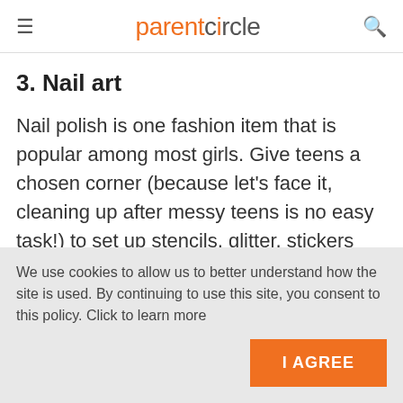parentcircle
3. Nail art
Nail polish is one fashion item that is popular among most girls. Give teens a chosen corner (because let's face it, cleaning up after messy teens is no easy task!) to set up stencils, glitter, stickers and
We use cookies to allow us to better understand how the site is used. By continuing to use this site, you consent to this policy. Click to learn more
I AGREE